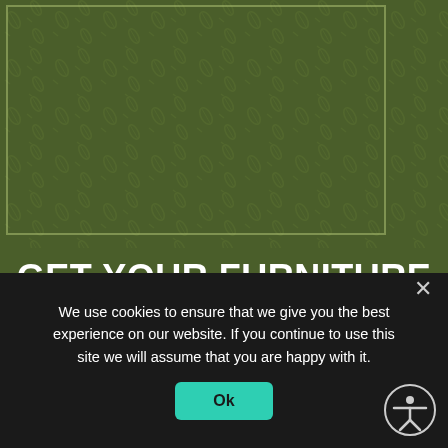[Figure (illustration): Dark olive green background with repeating embossed leaf/oval diamond tread pattern and a thin rectangular border inset near the top-left area]
GET YOUR FURNITURE REMOVED FROM GI JUNK AWAY
We use cookies to ensure that we give you the best experience on our website. If you continue to use this site we will assume that you are happy with it.
Ok